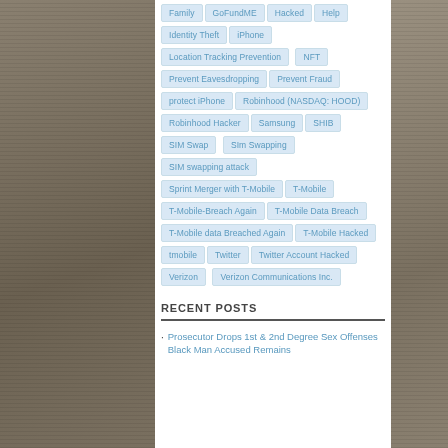Family
GoFundME
Hacked
Help
Identity Theft
iPhone
Location Tracking Prevention
NFT
Prevent Eavesdropping
Prevent Fraud
protect iPhone
Robinhood (NASDAQ: HOOD)
Robinhood Hacker
Samsung
SHIB
SIM Swap
SIm Swapping
SIM swapping attack
Sprint Merger with T-Mobile
T-Mobile
T-Mobile-Breach Again
T-Mobile Data Breach
T-Mobile data Breached Again
T-Mobile Hacked
tmobile
Twitter
Twitter Account Hacked
Verizon
Verizon Communications Inc.
RECENT POSTS
Prosecutor Drops 1st & 2nd Degree Sex Offenses Black Man Accused Remains